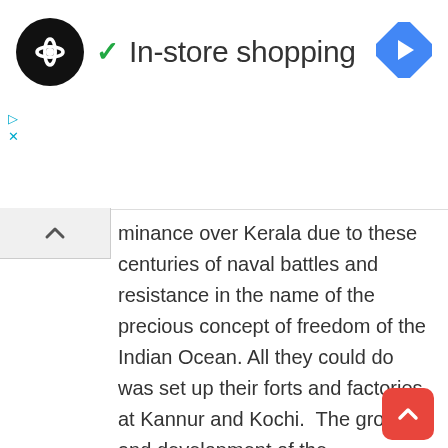In-store shopping
minance over Kerala due to these centuries of naval battles and resistance in the name of the precious concept of freedom of the Indian Ocean. All they could do was set up their forts and factories at Kannur and Kochi. The growth and development of the Malayalam language took place in this independent political context. Had the Portuguese rule been established in Malabar, the collapse of the Konkani language and culture in Goa would have taken place here as well. "It simply came to our notice then that this was not the case," he said.

Many sea battles against the Portuguese took place here for more than a Jupiter period after the